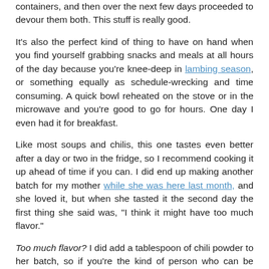containers, and then over the next few days proceeded to devour them both. This stuff is really good.
It's also the perfect kind of thing to have on hand when you find yourself grabbing snacks and meals at all hours of the day because you're knee-deep in lambing season, or something equally as schedule-wrecking and time consuming. A quick bowl reheated on the stove or in the microwave and you're good to go for hours. One day I even had it for breakfast.
Like most soups and chilis, this one tastes even better after a day or two in the fridge, so I recommend cooking it up ahead of time if you can. I did end up making another batch for my mother while she was here last month, and she loved it, but when she tasted it the second day the first thing she said was, "I think it might have too much flavor."
Too much flavor? I did add a tablespoon of chili powder to her batch, so if you're the kind of person who can be easily overflavored, you might want to leave it out and/or reduce the other seasonings.